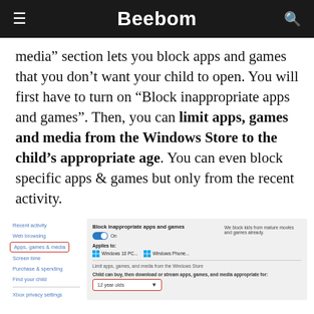Beebom
media” section lets you block apps and games that you don’t want your child to open. You will first have to turn on “Block inappropriate apps and games”. Then, you can limit apps, games and media from the Windows Store to the child’s appropriate age. You can even block specific apps & games but only from the recent activity.
[Figure (screenshot): Windows family safety settings screenshot showing sidebar navigation with Recent activity, Web browsing, Apps games & media (highlighted in red box), Screen time, Purchase & spending, Find your child, Xbox privacy settings. Main panel shows Block inappropriate apps and games toggle (On), Applies to: Windows 10 PC and Windows Phone, Limit apps games and media from the Windows Store section, Child can buy then download or stream apps games and media appropriate for: dropdown showing 12 year olds (highlighted in red box).]